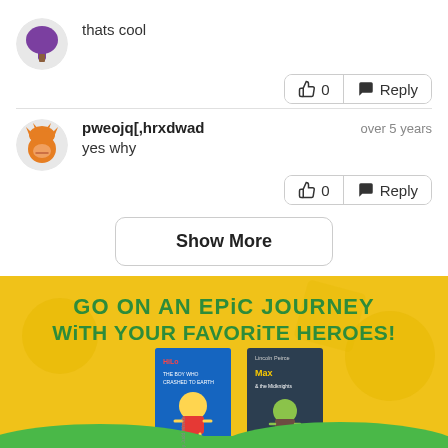thats cool
0  Reply
pweojq[,hrxdwad  over 5 years
yes why
0  Reply
Show More
[Figure (illustration): Advertisement banner with yellow background showing two book covers: 'Hilo: The Boy Who Crashed to Earth' and 'Max & the Midknights' by Lincoln Peirce. Green bold text reads 'GO ON AN EPIC JOURNEY WITH YOUR FAVORITE HEROES!' with green grass/hills at the bottom.]